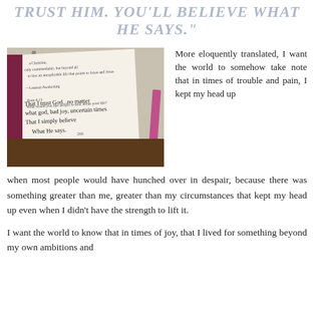TRUST HIM. YOU'LL BELIEVE WHAT HE SAYS."
[Figure (photo): An open journal/book on a wooden surface with handwritten notes and a pink ribbon bookmark. Handwritten text reads: 'That I trust God...no matter what God, bad joy, uncertain times That I simply believe What He says.' A page number 269 is visible.]
More eloquently translated, I want the world to somehow take note that in times of trouble and pain, I kept my head up when most people would have hunched over in despair, because there was something greater than me, greater than my circumstances that kept my head up even when I didn't have the strength to lift it.
I want the world to know that in times of joy, that I lived for something beyond my own ambitions and